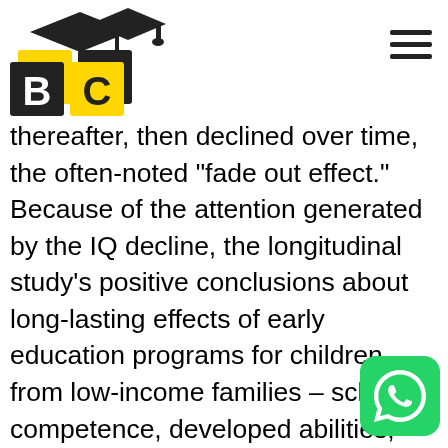ATBC logo and navigation
thereafter, then declined over time, the often-noted "fade out effect." Because of the attention generated by the IQ decline, the longitudinal study's positive conclusions about long-lasting effects of early education programs for children from low-income families – school competence, developed abilities, attitudes and values, and impact on the family – were largely ignored. Continued longitudinal inquiry and new intervention studies have provided additional data for better understanding the development in children who receive different types and amounts of early intervention. Five studies focused on groups of children at high risk for mental retardation. All of these intensive, multi-pronged programs involved random assignment of children to intervention or control groups; and in each program, intervention continued for a minimum of one year prior to age 4.